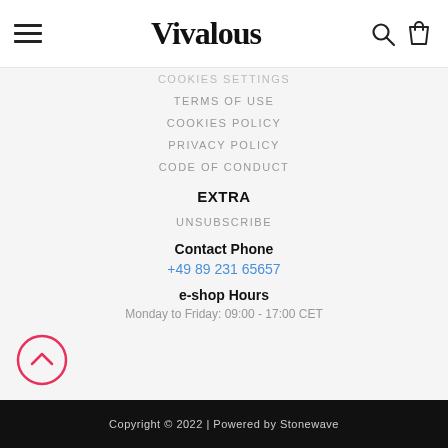Vivalous
COOKIES SETTINGS
TERMS OF USE
COOKIES POLICY
PRIVACY POLICY
CODE OF CONDUCT
EXTRA
UNSUBSCRIBE
Contact Phone
+49 89 231 65657
e-shop Hours
Monday to Friday: 09:00 - 17:00 CET
Copyright © 2022 | Powered by Stonewave